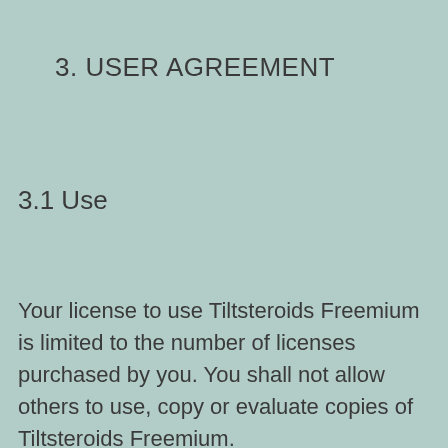3. USER AGREEMENT
3.1 Use
Your license to use Tiltsteroids Freemium is limited to the number of licenses purchased by you. You shall not allow others to use, copy or evaluate copies of Tiltsteroids Freemium.